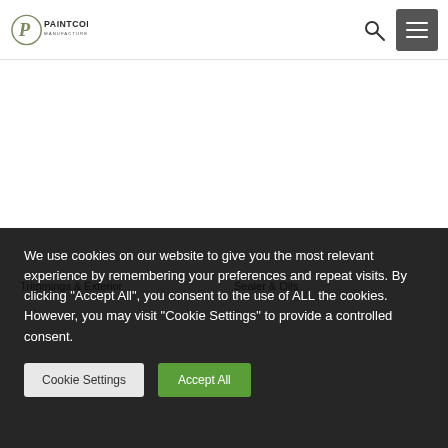PAINTCOR MANUFACTURERS
Trimmings & Exterior
Sealer & Oils
We use cookies on our website to give you the most relevant experience by remembering your preferences and repeat visits. By clicking "Accept All", you consent to the use of ALL the cookies. However, you may visit "Cookie Settings" to provide a controlled consent.
Cookie Settings
Accept All